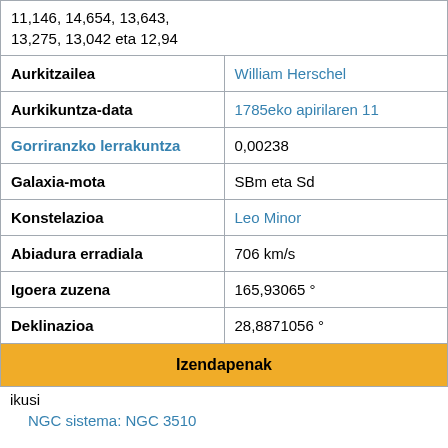| Label | Value |
| --- | --- |
|  | 11,146, 14,654, 13,643, 13,275, 13,042 eta 12,94 |
| Aurkitzailea | William Herschel |
| Aurkikuntza-data | 1785eko apirilaren 11 |
| Gorriranzko lerrakuntza | 0,00238 |
| Galaxia-mota | SBm eta Sd |
| Konstelazioa | Leo Minor |
| Abiadura erradiala | 706 km/s |
| Igoera zuzena | 165,93065 ° |
| Deklinazioa | 28,8871056 ° |
| Izendapenak |  |
| ikusi |  |
| NGC sistema: NGC 3510 |  |